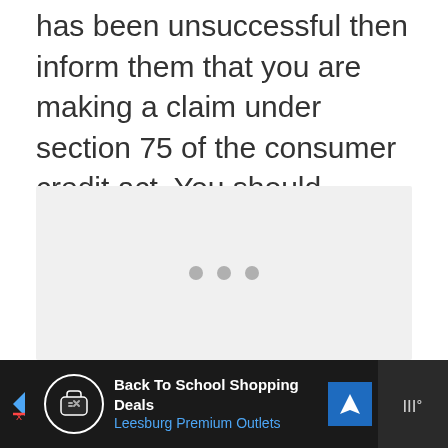has been unsuccessful then inform them that you are making a claim under section 75 of the consumer credit act. You should provide them with as much evidence as possible including receipts, emails etc.
[Figure (other): Gray placeholder box with three dots indicating loading or media content]
[Figure (other): Advertisement banner at bottom: Back To School Shopping Deals - Leesburg Premium Outlets with navigation icon]